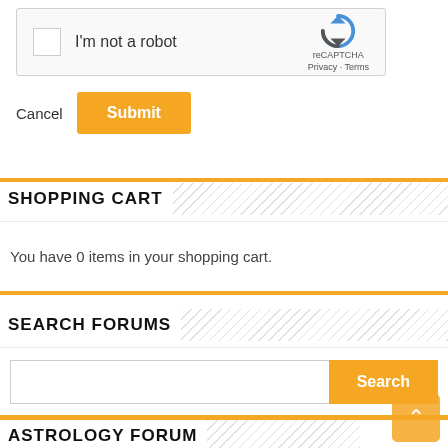[Figure (screenshot): reCAPTCHA widget with checkbox labeled 'I'm not a robot', reCAPTCHA logo, Privacy and Terms links]
Cancel
Submit
SHOPPING CART
You have 0 items in your shopping cart.
SEARCH FORUMS
Search
ASTROLOGY FORUM